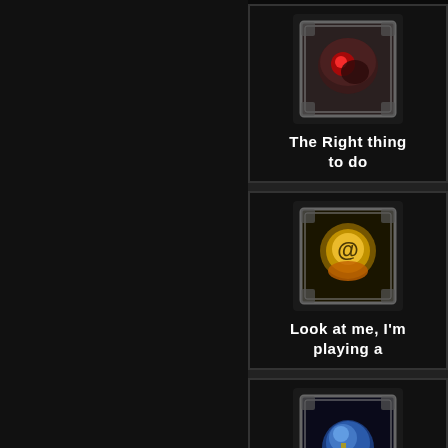[Figure (screenshot): Game achievement card 1: dark mushroom-like icon with red glow, labeled 'The Right thing to do']
[Figure (screenshot): Game achievement card 2: yellow/orange glowing orb with @ symbol, labeled 'Look at me, I'm playing a']
[Figure (screenshot): Game achievement card 3: blue creature/character icon, labeled 'Home sweet home']
[Figure (screenshot): Game achievement card 4 (partially visible at bottom)]